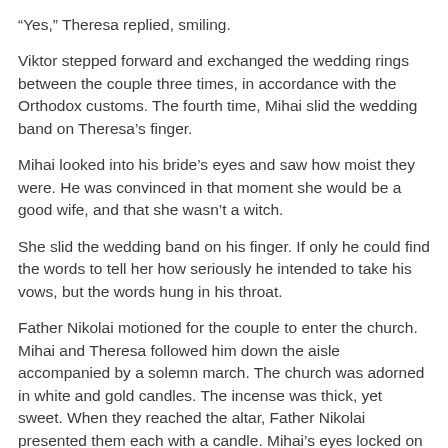“Yes,” Theresa replied, smiling.
Viktor stepped forward and exchanged the wedding rings between the couple three times, in accordance with the Orthodox customs. The fourth time, Mihai slid the wedding band on Theresa’s finger.
Mihai looked into his bride’s eyes and saw how moist they were. He was convinced in that moment she would be a good wife, and that she wasn’t a witch.
She slid the wedding band on his finger. If only he could find the words to tell her how seriously he intended to take his vows, but the words hung in his throat.
Father Nikolai motioned for the couple to enter the church. Mihai and Theresa followed him down the aisle accompanied by a solemn march. The church was adorned in white and gold candles. The incense was thick, yet sweet. When they reached the altar, Father Nikolai presented them each with a candle. Mihai’s eyes locked on Theresa’s as they held their candles in front of them.